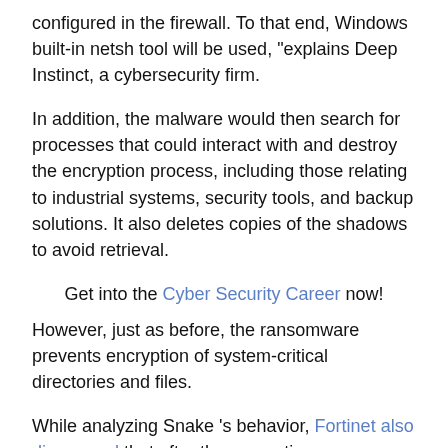configured in the firewall. To that end, Windows built-in netsh tool will be used, “explains Deep Instinct, a cybersecurity firm.
In addition, the malware would then search for processes that could interact with and destroy the encryption process, including those relating to industrial systems, security tools, and backup solutions. It also deletes copies of the shadows to avoid retrieval.
Get into the Cyber Security Career now!
However, just as before, the ransomware prevents encryption of system-critical directories and files.
While analyzing Snake ’s behavior, Fortinet also discovered that after the encryption process was completed the malicious tool turns the firewall off.